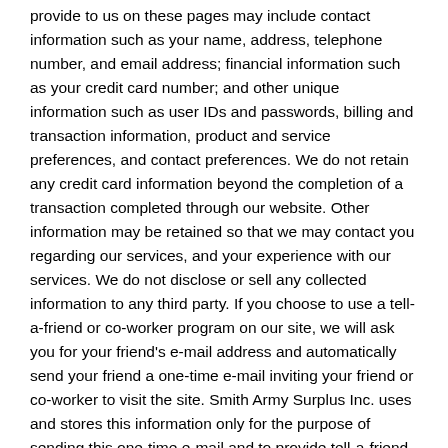provide to us on these pages may include contact information such as your name, address, telephone number, and email address; financial information such as your credit card number; and other unique information such as user IDs and passwords, billing and transaction information, product and service preferences, and contact preferences. We do not retain any credit card information beyond the completion of a transaction completed through our website. Other information may be retained so that we may contact you regarding our services, and your experience with our services. We do not disclose or sell any collected information to any third party. If you choose to use a tell-a-friend or co-worker program on our site, we will ask you for your friend's e-mail address and automatically send your friend a one-time e-mail inviting your friend or co-worker to visit the site. Smith Army Surplus Inc. uses and stores this information only for the purpose of sending this one-time e-mail and to provide tell-a-friend message blocking, where available.